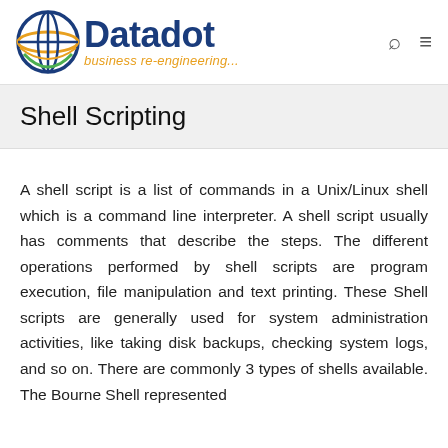Datadot business re-engineering...
Shell Scripting
A shell script is a list of commands in a Unix/Linux shell which is a command line interpreter. A shell script usually has comments that describe the steps. The different operations performed by shell scripts are program execution, file manipulation and text printing. These Shell scripts are generally used for system administration activities, like taking disk backups, checking system logs, and so on. There are commonly 3 types of shells available. The Bourne Shell represented